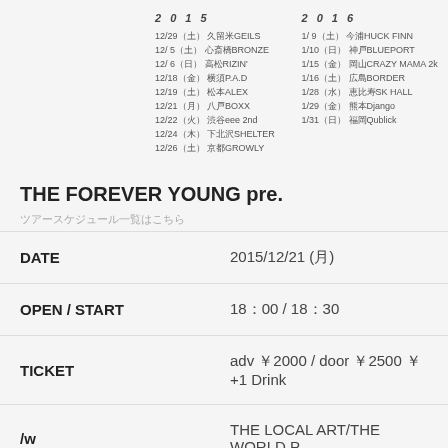2015 schedule: 12/29(土) 久留米GEILS, 12/5(土) 心斎橋BRONZE, 12/6(日) 高松RIZIN', 12/18(金) 横須P.A.D, 12/19(土) 松本ALEX, 12/21(月) 八戸BOXX, 12/22(火) 渋谷eee 2nd, 12/24(木) 下北沢SHELTER, 12/26(土) 京都GROWLY
2016 schedule: 1/9(土) 今浦HUCK FINN, 1/10(日) 神戸BLUEPORT, 1/15(金) 岡山CRAZY MAMA 2k, 1/16(土) 広島BORDER, 1/28(水) 恵比寿SK HALL, 1/29(金) 熊本Django, 1/31(日) 福岡Qublick
THE FOREVER YOUNG pre.
ツアースケジュール一覧はこちら
| Field | Value |
| --- | --- |
| DATE | 2015/12/21 (月) |
| OPEN / START | 18：00 / 18：30 |
| TICKET | adv ￥2000 / door ￥2500 ￥ +1 Drink |
| /w | THE LOCAL ART/THE WORLD P |